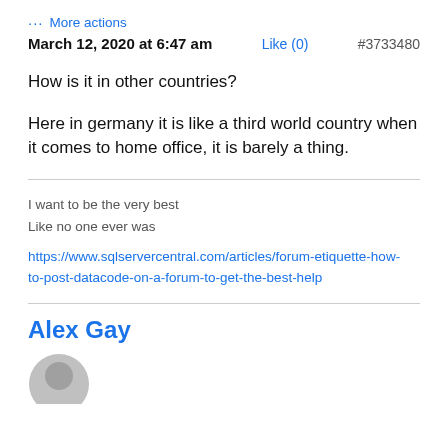··· More actions
March 12, 2020 at 6:47 am    Like (0)    #3733480
How is it in other countries?
Here in germany it is like a third world country when it comes to home office, it is barely a thing.
I want to be the very best
Like no one ever was
https://www.sqlservercentral.com/articles/forum-etiquette-how-to-post-datacode-on-a-forum-to-get-the-best-help
Alex Gay
[Figure (photo): User avatar partial circle, gray]